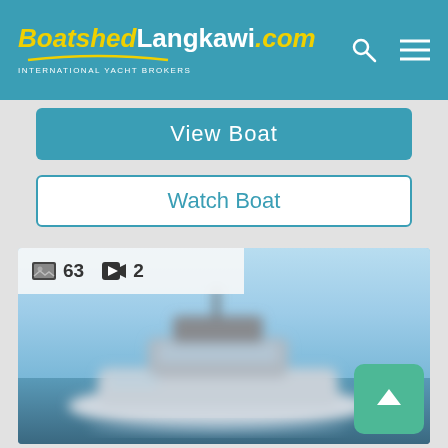[Figure (logo): BoatshedLangkawi.com International Yacht Brokers logo on teal navigation bar with search and menu icons]
[Figure (screenshot): View Boat teal button partially visible at top of content area]
View Boat
Watch Boat
[Figure (photo): Blurred photo of a motorboat/yacht on blue water with sky background, showing 63 photos and 2 videos indicator overlay]
63
2